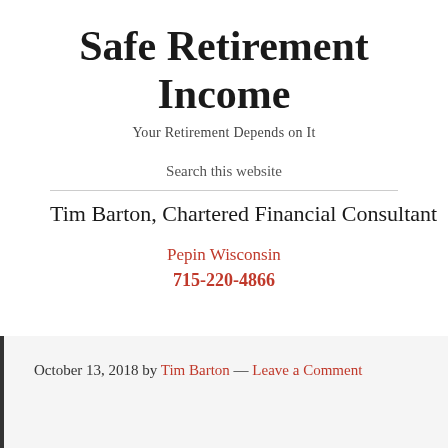Safe Retirement Income
Your Retirement Depends on It
Search this website
Tim Barton, Chartered Financial Consultant
Pepin Wisconsin
715-220-4866
October 13, 2018 by Tim Barton — Leave a Comment